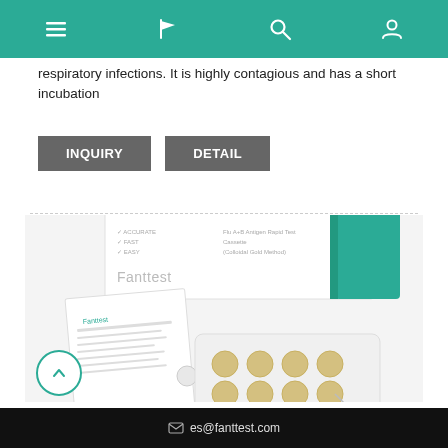Navigation bar with menu, flag, search, and account icons
respiratory infections. It is highly contagious and has a short incubation
INQUIRY | DETAIL (buttons)
[Figure (photo): Fanttest brand rapid test kit product photo showing a white box labeled 'Fanttest' with teal accents, test cassette device with multiple wells, instruction leaflet, and a nasal swab strip packaging]
es@fanttest.com